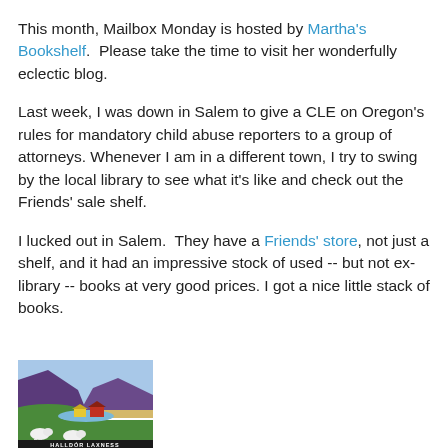This month, Mailbox Monday is hosted by Martha's Bookshelf.  Please take the time to visit her wonderfully eclectic blog.
Last week, I was down in Salem to give a CLE on Oregon's rules for mandatory child abuse reporters to a group of attorneys. Whenever I am in a different town, I try to swing by the local library to see what it's like and check out the Friends' sale shelf.
I lucked out in Salem.  They have a Friends' store, not just a shelf, and it had an impressive stock of used -- but not ex-library -- books at very good prices. I got a nice little stack of books.
[Figure (illustration): Book cover showing a pastoral scene with sheep in foreground, green hills, purple mountains, yellow and red buildings, blue sky. Author name HALLDÓR LAXNESS at bottom.]